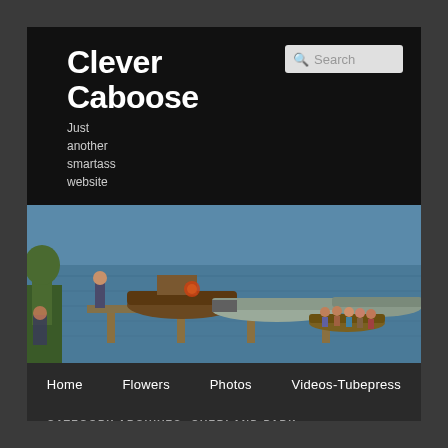Clever Caboose
Just another smartass website
[Figure (photo): Photo banner showing boats docked at a marina/lake with people in a small rowboat in the background]
Home  Flowers  Photos  Videos-Tubepress
CATEGORY ARCHIVES: OVERLAND PARK
Auto Service